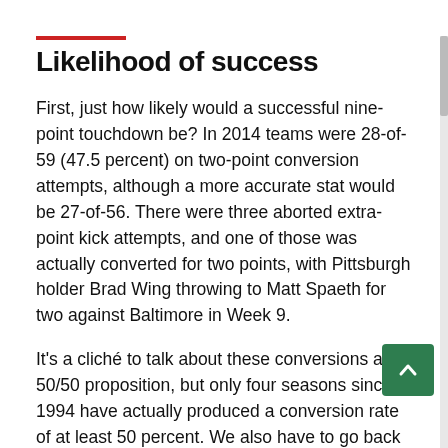Likelihood of success
First, just how likely would a successful nine-point touchdown be? In 2014 teams were 28-of-59 (47.5 percent) on two-point conversion attempts, although a more accurate stat would be 27-of-56. There were three aborted extra-point kick attempts, and one of those was actually converted for two points, with Pittsburgh holder Brad Wing throwing to Matt Spaeth for two against Baltimore in Week 9.
It's a cliché to talk about these conversions as a 50/50 proposition, but only four seasons since 1994 have actually produced a conversion rate of at least 50 percent. We also have to go back to 2004 to find the last time teams attempted at least 70 two-point